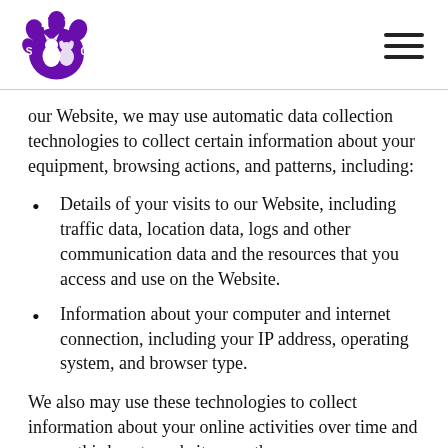[Figure (logo): SHVC veterinary clinic logo — purple paw print with silhouettes of a cat and dog, letters H, V on top, S on left, C on right]
our Website, we may use automatic data collection technologies to collect certain information about your equipment, browsing actions, and patterns, including:
Details of your visits to our Website, including traffic data, location data, logs and other communication data and the resources that you access and use on the Website.
Information about your computer and internet connection, including your IP address, operating system, and browser type.
We also may use these technologies to collect information about your online activities over time and across third-party websites or other